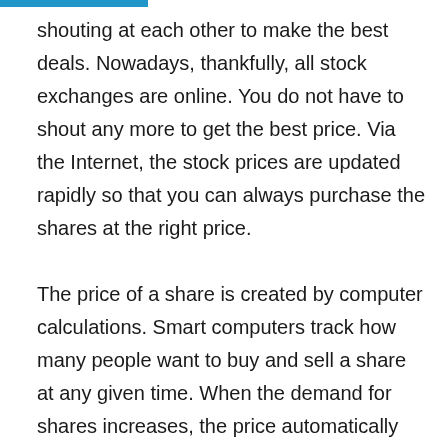shouting at each other to make the best deals. Nowadays, thankfully, all stock exchanges are online. You do not have to shout any more to get the best price. Via the Internet, the stock prices are updated rapidly so that you can always purchase the shares at the right price.

The price of a share is created by computer calculations. Smart computers track how many people want to buy and sell a share at any given time. When the demand for shares increases, the price automatically increases. When the number of buyers decrease, the price again drops somewhat. As son as you start trading on the stock exchange,